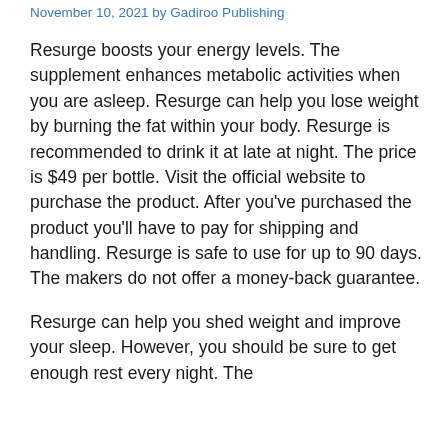November 10, 2021 by Gadiroo Publishing
Resurge boosts your energy levels. The supplement enhances metabolic activities when you are asleep. Resurge can help you lose weight by burning the fat within your body. Resurge is recommended to drink it at late at night. The price is $49 per bottle. Visit the official website to purchase the product. After you've purchased the product you'll have to pay for shipping and handling. Resurge is safe to use for up to 90 days. The makers do not offer a money-back guarantee.
Resurge can help you shed weight and improve your sleep. However, you should be sure to get enough rest every night. The